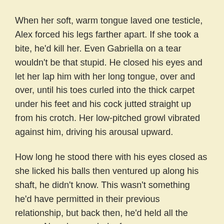When her soft, warm tongue laved one testicle, Alex forced his legs farther apart. If she took a bite, he'd kill her. Even Gabriella on a tear wouldn't be that stupid. He closed his eyes and let her lap him with her long tongue, over and over, until his toes curled into the thick carpet under his feet and his cock jutted straight up from his crotch. Her low-pitched growl vibrated against him, driving his arousal upward.
How long he stood there with his eyes closed as she licked his balls then ventured up along his shaft, he didn't know. This wasn't something he'd have permitted in their previous relationship, but back then, he'd held all the power. Now, he needed a favor.
When the laps shortened, the tongue feeling a little less slippery, he gazed down to find the woman kneeling